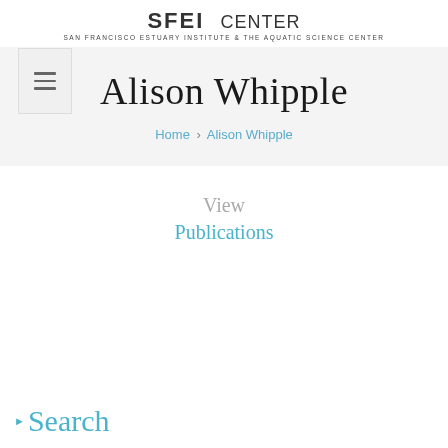SFEI CENTER — SAN FRANCISCO ESTUARY INSTITUTE & THE AQUATIC SCIENCE CENTER
[Figure (other): Navigation menu button icon with three horizontal lines]
Alison Whipple
Home › Alison Whipple
View
Publications
Search